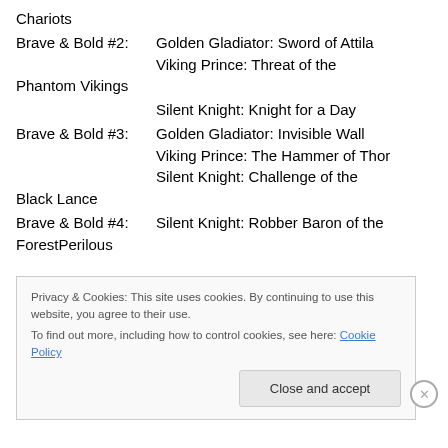Chariots
Brave & Bold #2: Golden Gladiator: Sword of Attila
Viking Prince: Threat of the Phantom Vikings
Silent Knight: Knight for a Day
Brave & Bold #3: Golden Gladiator: Invisible Wall
Viking Prince: The Hammer of Thor
Silent Knight: Challenge of the Black Lance
Brave & Bold #4: Silent Knight: Robber Baron of the ForestPerilous
Privacy & Cookies: This site uses cookies. By continuing to use this website, you agree to their use.
To find out more, including how to control cookies, see here: Cookie Policy
Close and accept